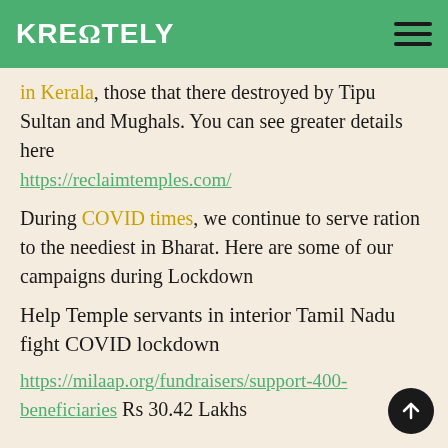KREΩTELY
in Kerala, those that there destroyed by Tipu Sultan and Mughals. You can see greater details here https://reclaimtemples.com/
During COVID times, we continue to serve ration to the neediest in Bharat. Here are some of our campaigns during Lockdown
Help Temple servants in interior Tamil Nadu fight COVID lockdown
https://milaap.org/fundraisers/support-400-beneficiaries Rs 30.42 Lakhs